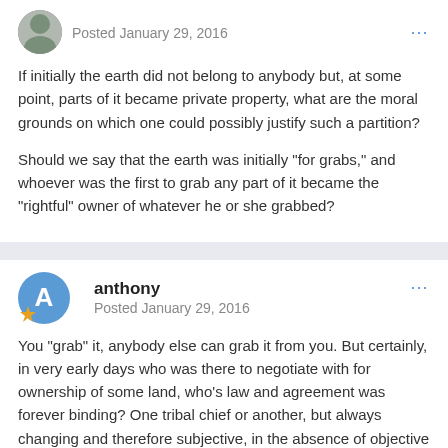Posted January 29, 2016
If initially the earth did not belong to anybody but, at some point, parts of it became private property, what are the moral grounds on which one could possibly justify such a partition?
Should we say that the earth was initially "for grabs," and whoever was the first to grab any part of it became the "rightful" owner of whatever he or she grabbed?
anthony
Posted January 29, 2016
You "grab" it, anybody else can grab it from you. But certainly, in very early days who was there to negotiate with for ownership of some land, who's law and agreement was forever binding? One tribal chief or another, but always changing and therefore subjective, in the absence of objective property rights. So even unpopulated, taken land had to be defended personally from random attack.